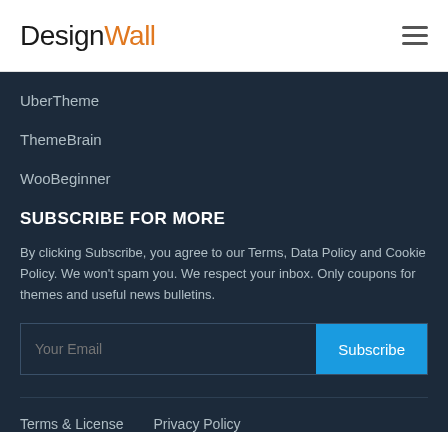DesignWall
UberTheme
ThemeBrain
WooBeginner
SUBSCRIBE FOR MORE
By clicking Subscribe, you agree to our Terms, Data Policy and Cookie Policy. We won't spam you. We respect your inbox. Only coupons for themes and useful news bulletins.
Your Email | Subscribe
Terms & License   Privacy Policy